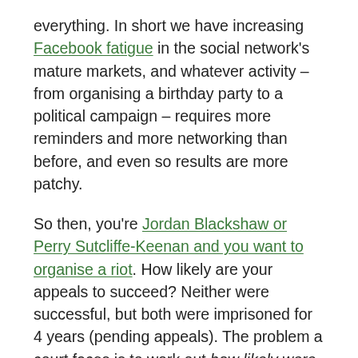everything. In short we have increasing Facebook fatigue in the social network's mature markets, and whatever activity – from organising a birthday party to a political campaign – requires more reminders and more networking than before, and even so results are more patchy.
So then, you're Jordan Blackshaw or Perry Sutcliffe-Keenan and you want to organise a riot. How likely are your appeals to succeed? Neither were successful, but both were imprisoned for 4 years (pending appeals). The problem a court faces is to work out how likely were they to succeed?
Take the analogy of attempted murder. If I point a loaded gun at your head and pull the trigger, chances are high I will succeed, so even if I don't manage for some reason I